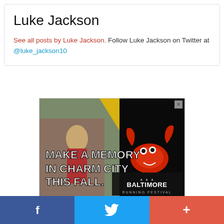Luke Jackson
See all posts by Luke Jackson. Follow Luke Jackson on Twitter at @luke_jackson10
[Figure (photo): Baltimore Running Festival advertisement showing a female runner and a cartoon crab mascot with text: MAKE A MEMORY IN CHARM CITY THIS FALL. BALTIMORE RUNNING FESTIVAL]
[Figure (infographic): Social sharing bar with Facebook (blue), Twitter (light blue), and a red plus/more button]